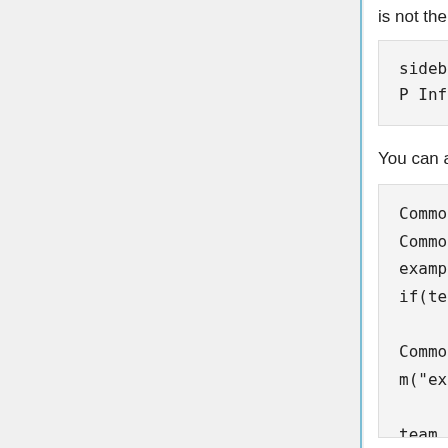is not the thing you want, you can allways call this:
You can also create Scoreboard teams: